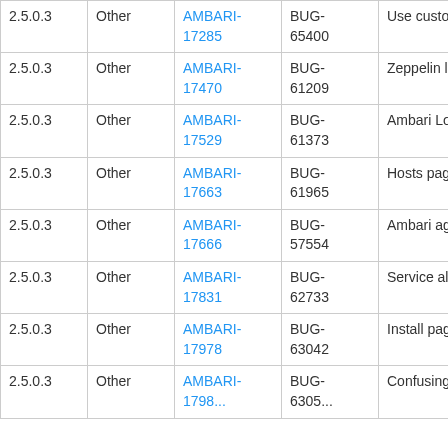| Version | Type | AMBARI | BUG | Description |
| --- | --- | --- | --- | --- |
| 2.5.0.3 | Other | AMBARI-17285 | BUG-65400 | Use customized Re... |
| 2.5.0.3 | Other | AMBARI-17470 | BUG-61209 | Zeppelin log4j.prope... config page |
| 2.5.0.3 | Other | AMBARI-17529 | BUG-61373 | Ambari LogSearch R... that have already be... |
| 2.5.0.3 | Other | AMBARI-17663 | BUG-61965 | Hosts page: JS erro... |
| 2.5.0.3 | Other | AMBARI-17666 | BUG-57554 | Ambari agents can c... |
| 2.5.0.3 | Other | AMBARI-17831 | BUG-62733 | Service alerts label... |
| 2.5.0.3 | Other | AMBARI-17978 | BUG-63042 | Install page shows i... |
| 2.5.0.3 | Other | AMBARI-17... | BUG-63... | Confusing message... |